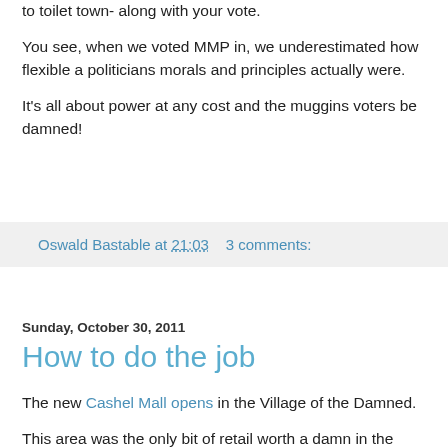to toilet town- along with your vote.
You see, when we voted MMP in, we underestimated how flexible a politicians morals and principles actually were.
It's all about power at any cost and the muggins voters be damned!
Oswald Bastable at 21:03    3 comments:
Sunday, October 30, 2011
How to do the job
The new Cashel Mall opens in the Village of the Damned.
This area was the only bit of retail worth a damn in the whole central city, anyway.
I have said all along that the way to go, if you must build on a